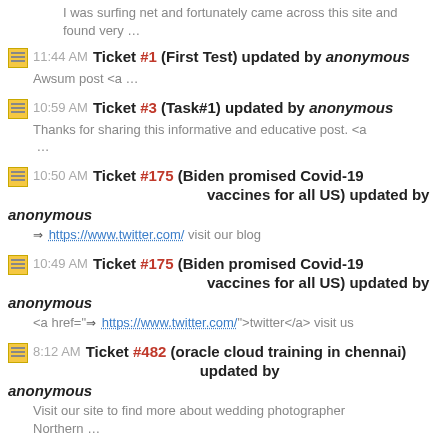I was surfing net and fortunately came across this site and found very …
11:44 AM Ticket #1 (First Test) updated by anonymous
Awsum post <a …
10:59 AM Ticket #3 (Task#1) updated by anonymous
Thanks for sharing this informative and educative post. <a …
10:50 AM Ticket #175 (Biden promised Covid-19 vaccines for all US) updated by anonymous
⇒ https://www.twitter.com/ visit our blog
10:49 AM Ticket #175 (Biden promised Covid-19 vaccines for all US) updated by anonymous
<a href="⇒ https://www.twitter.com/">twitter</a> visit us
8:12 AM Ticket #482 (oracle cloud training in chennai) updated by anonymous
Visit our site to find more about wedding photographer Northern …
7:30 AM Ticket #39 (Are you interested in reducing your …) updated by …